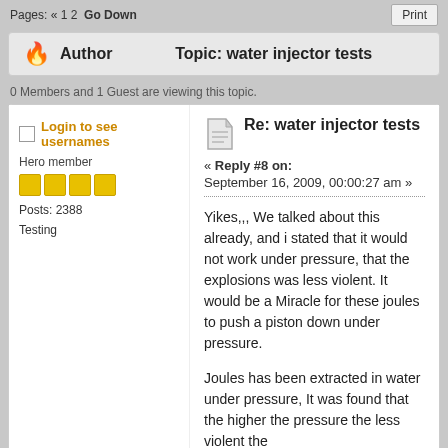Pages: « 1 2  Go Down
Author   Topic: water injector tests
0 Members and 1 Guest are viewing this topic.
Login to see usernames
Hero member
Posts: 2388
Testing
Re: water injector tests
« Reply #8 on: September 16, 2009, 00:00:27 am »
Yikes,,, We talked about this already, and i stated that it would not work under pressure, that the explosions was less violent. It would be a Miracle for these joules to push a piston down under pressure.
Joules has been extracted in water under pressure, It was found that the higher the pressure the less violent the